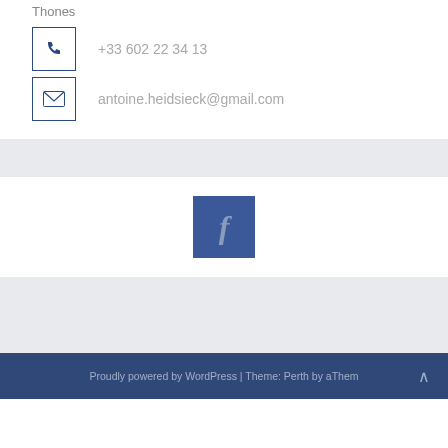Thones
+33 602 22 34 13
antoine.heidsieck@gmail.com
[Figure (logo): Facebook icon button — blue square with white italic f letter]
Proudly powered by WordPress | Theme: Perth by aThem